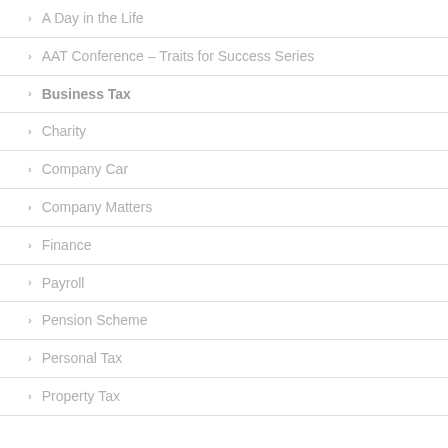A Day in the Life
AAT Conference – Traits for Success Series
Business Tax
Charity
Company Car
Company Matters
Finance
Payroll
Pension Scheme
Personal Tax
Property Tax